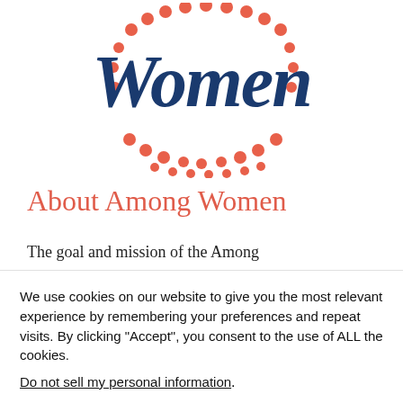[Figure (logo): Among Women logo with cursive 'Women' text in dark blue and decorative red/coral dots arranged in a border pattern around the text]
About Among Women
The goal and mission of the Among
We use cookies on our website to give you the most relevant experience by remembering your preferences and repeat visits. By clicking "Accept", you consent to the use of ALL the cookies.
Do not sell my personal information.